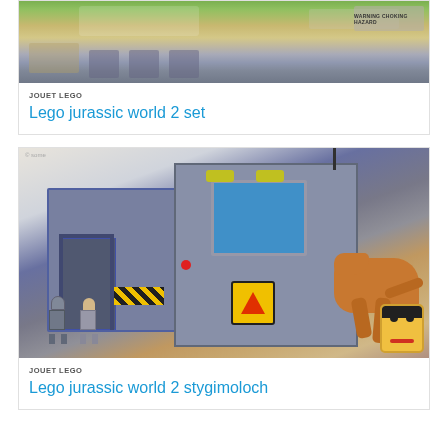[Figure (photo): Partial view of a Lego Jurassic World set toy box, showing box art with dinosaurs and minifigures]
JOUET LEGO
Lego jurassic world 2 set
[Figure (photo): Lego Jurassic World 2 Stygimoloch breakout set with grey building structure, blue control room, raptor dinosaur figure, and several minifigures]
JOUET LEGO
Lego jurassic world 2 stygimoloch